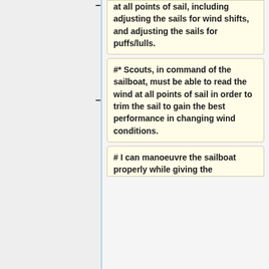at all points of sail, including adjusting the sails for wind shifts, and adjusting the sails for puffs/lulls.
#* Scouts, in command of the sailboat, must be able to read the wind at all points of sail in order to trim the sail to gain the best performance in changing wind conditions.
# I can manoeuvre the sailboat properly while giving the